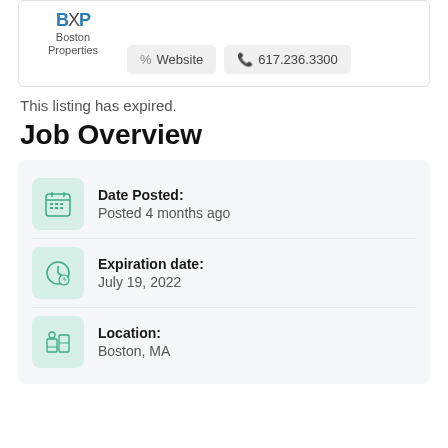[Figure (logo): Boston Properties logo with blue BXP text and company name]
Website
617.236.3300
This listing has expired.
Job Overview
Date Posted:
Posted 4 months ago
Expiration date:
July 19, 2022
Location:
Boston, MA